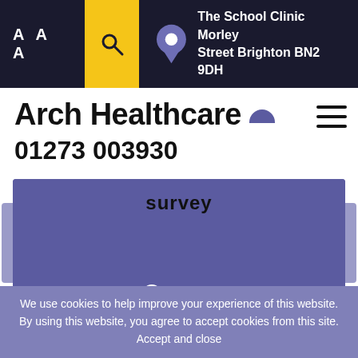AAA  [search icon]  The School Clinic Morley Street Brighton BN2 9DH
Arch Healthcare
01273 003930
[Figure (screenshot): Purple/violet banner slide showing the word 'survey' at the top, with three slider navigation dots at the bottom (one empty circle, two filled circles). Partially visible slides on left and right sides.]
We use cookies to help improve your experience of this website. By using this website, you agree to accept cookies from this site. Accept and close